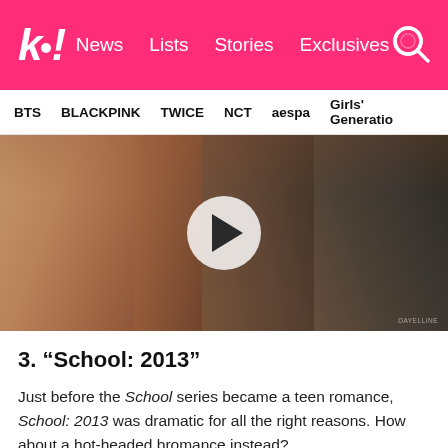k! News Lists Stories Exclusives
BTS BLACKPINK TWICE NCT aespa Girls' Generation
[Figure (photo): Two people facing each other closely in a romantic scene, one with long hair and one in a dark jacket, with a video play button overlay in the center. Appears to be a still from the Korean drama 'School: 2013'.]
3. “School: 2013”
Just before the School series became a teen romance, School: 2013 was dramatic for all the right reasons. How about a hot-headed bromance instead?